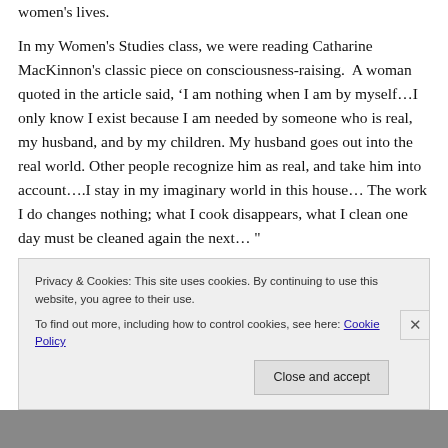women's lives.
In my Women's Studies class, we were reading Catharine MacKinnon's classic piece on consciousness-raising.  A woman quoted in the article said, ‘I am nothing when I am by myself…I only know I exist because I am needed by someone who is real, my husband, and by my children. My husband goes out into the real world. Other people recognize him as real, and take him into account….I stay in my imaginary world in this house… The work I do changes nothing; what I cook disappears, what I clean one day must be cleaned again the next…"
Privacy & Cookies: This site uses cookies. By continuing to use this website, you agree to their use.
To find out more, including how to control cookies, see here: Cookie Policy